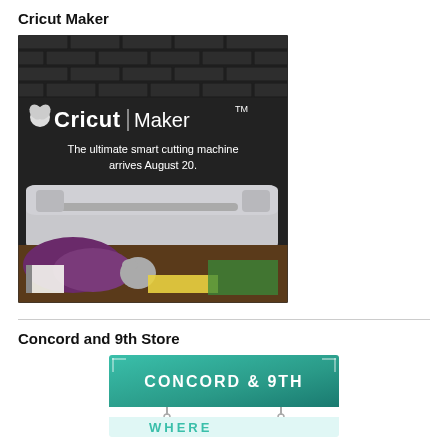Cricut Maker
[Figure (photo): Cricut Maker advertising image showing the cutting machine with text 'The ultimate smart cutting machine arrives August 20.' on a dark brick background with craft supplies in the foreground.]
Concord and 9th Store
[Figure (photo): Concord & 9th store banner/sign in teal green colors with text 'CONCORD & 9TH' and 'WHERE' partially visible at bottom.]